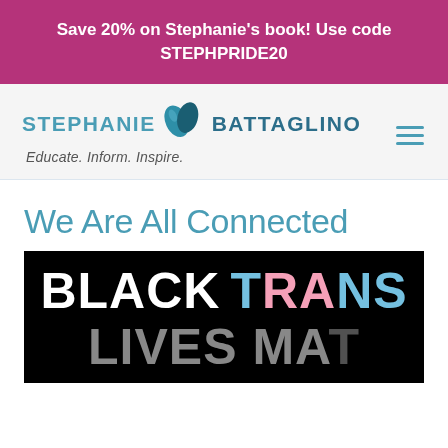Save 20% on Stephanie's book! Use code STEPHPRIDE20
[Figure (logo): Stephanie Battaglino logo with leaf/plant icon and tagline 'Educate. Inform. Inspire.']
We Are All Connected
[Figure (photo): Black background image with bold text: 'BLACK TRANS LIVES MATTER' — BLACK in white, T in light blue, RA in pink, NS in light blue]